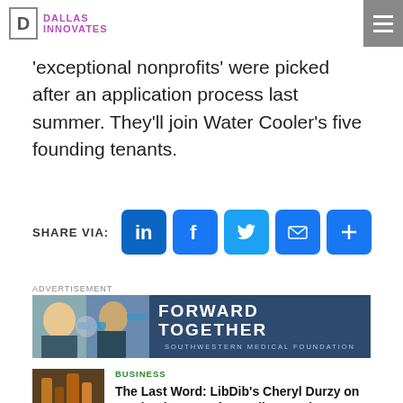DALLAS INNOVATES
'exceptional nonprofits' were picked after an application process last summer. They'll join Water Cooler's five founding tenants.
SHARE VIA:
ADVERTISEMENT
[Figure (infographic): Forward Together Southwestern Medical Foundation advertisement banner with photo of people in medical masks]
BUSINESS
The Last Word: LibDib's Cheryl Durzy on Graduating a Craft Tequila Brand to RNDC